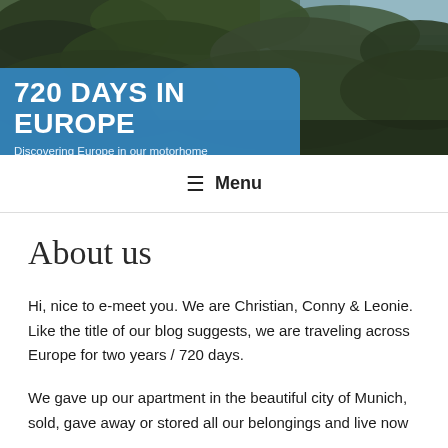[Figure (photo): Landscape banner photo showing green hillside vegetation with dark foliage, used as website header background image.]
720 DAYS IN EUROPE
Discovering Europe in our motorhome
☰ Menu
About us
Hi, nice to e-meet you. We are Christian, Conny & Leonie. Like the title of our blog suggests, we are traveling across Europe for two years / 720 days.
We gave up our apartment in the beautiful city of Munich, sold, gave away or stored all our belongings and live now